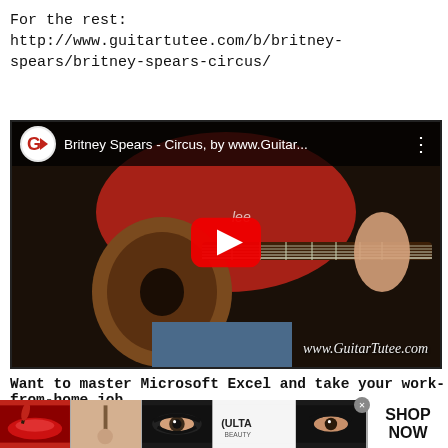For the rest: http://www.guitartutee.com/b/britney-spears/britney-spears-circus/
[Figure (screenshot): YouTube video thumbnail showing a person in a red shirt playing an acoustic guitar on a dark background. The video title bar reads 'Britney Spears - Circus, by www.Guitar...' with a GuitarTutee logo on the left. A red YouTube play button is centered over the image. The watermark 'www.GuitarTutee.com' appears at the bottom right.]
Want to master Microsoft Excel and take your work-from-home job
[Figure (photo): Advertisement banner showing makeup-themed images (lipstick, makeup brush, eye with dramatic makeup, ULTA Beauty logo, another eye with makeup) and a 'SHOP NOW' button on the right.]